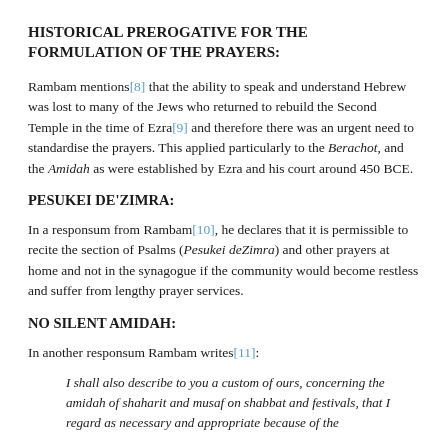HISTORICAL PREROGATIVE FOR THE FORMULATION OF THE PRAYERS:
Rambam mentions[8] that the ability to speak and understand Hebrew was lost to many of the Jews who returned to rebuild the Second Temple in the time of Ezra[9] and therefore there was an urgent need to standardise the prayers. This applied particularly to the Berachot, and the Amidah as were established by Ezra and his court around 450 BCE.
PESUKEI DE'ZIMRA:
In a responsum from Rambam[10], he declares that it is permissible to recite the section of Psalms (Pesukei deZimra) and other prayers at home and not in the synagogue if the community would become restless and suffer from lengthy prayer services.
NO SILENT AMIDAH:
In another responsum Rambam writes[11]:
I shall also describe to you a custom of ours, concerning the amidah of shaharit and musaf on shabbat and festivals, that I regard as necessary and appropriate because of the